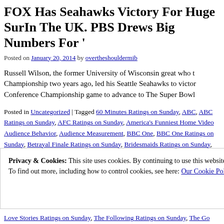FOX Has Seahawks Victory For Huge Sur... In The UK. PBS Drews Big Numbers For '...
Posted on January 20, 2014 by overtheshouldermib
Russell Wilson, the former University of Wisconsin great who t... Championship two years ago, led his Seattle Seahawks to victor... Conference Championship game to advance to The Super Bowl...
Posted in Uncategorized | Tagged 60 Minutes Ratings on Sunday, ABC, ABC... Ratings on Sunday, AFC Ratings on Sunday, America's Funniest Home Video... Audience Behavior, Audience Measurement, BBC One, BBC One Ratings on... Sunday, Betrayal Finale Ratings on Sunday, Bridesmaids Ratings on Sunday... CBS Ratings on Sunday, Celebrity Big Brother Ratings on Sunday, Channel 4... 5, Channel 5 Ratings on Sunday, CNA | SOPHIS, Countryfile Winter Ratings... Sunday, Data, Dateline Ratings on Sunday, Denver Broncos Ratings on Sund... Ratings on Sunday, FOX and Turner, FOX FOX Ratings on Sunday, ITV, ITV... Lance Hanish, Legally Blonde Ratings on Sunday, Masters Snooker final rati...
Privacy & Cookies: This site uses cookies. By continuing to use this website, you agree to their use. To find out more, including how to control cookies, see here: Our Cookie Policy
Love Stories Ratings on Sunday, The Following Ratings on Sunday, The Go...